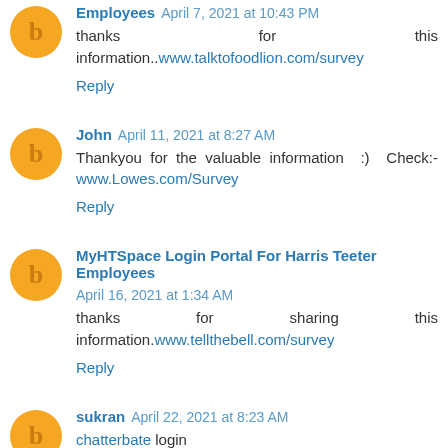Employees April 7, 2021 at 10:43 PM
thanks for this information..www.talktofoodlion.com/survey
Reply
John April 11, 2021 at 8:27 AM
Thankyou for the valuable information :) Check:- www.Lowes.com/Survey
Reply
MyHTSpace Login Portal For Harris Teeter Employees April 16, 2021 at 1:34 AM
thanks for sharing this information.www.tellthebell.com/survey
Reply
sukran April 22, 2021 at 8:23 AM
chatterbate login